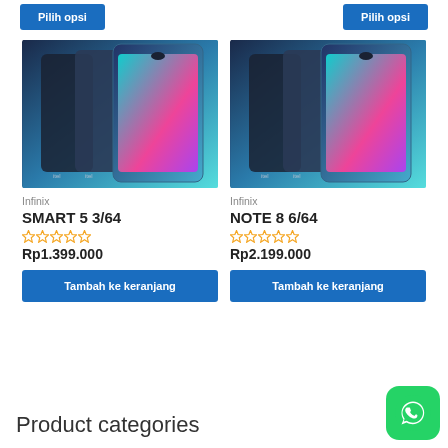Pilih opsi (left button)
Pilih opsi (right button)
[Figure (photo): Infinix SMART 5 3/64 smartphone product photo showing multiple color variants]
Infinix
SMART 5 3/64
Rp1.399.000
Tambah ke keranjang
[Figure (photo): Infinix NOTE 8 6/64 smartphone product photo showing multiple color variants]
Infinix
NOTE 8 6/64
Rp2.199.000
Tambah ke keranjang
Product categories
[Figure (logo): WhatsApp green circle icon button]